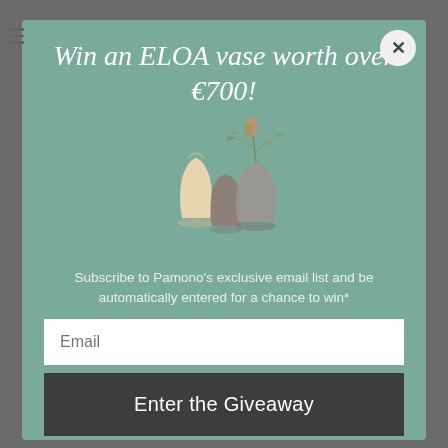Win an ELOA vase worth over €700!
[Figure (illustration): Three ELOA glass vases of different sizes and shapes with dried botanical stems arranged in the tallest vase]
Subscribe to Pamono's exclusive email list and be automatically entered for a chance to win*
Email
Enter the Giveaway